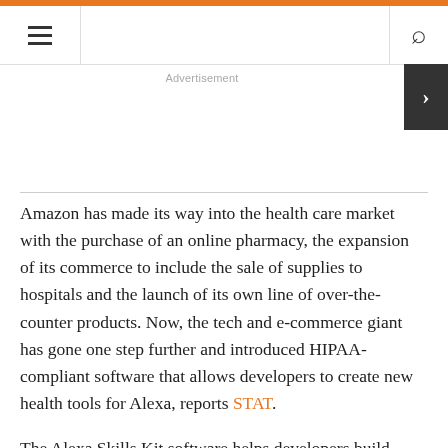Navigation bar with hamburger menu and search icon
Advertisement
Amazon has made its way into the health care market with the purchase of an online pharmacy, the expansion of its commerce to include the sale of supplies to hospitals and the launch of its own line of over-the-counter products. Now, the tech and e-commerce giant has gone one step further and introduced HIPAA-compliant software that allows developers to create new health tools for Alexa, reports STAT.
The Alexa Skills Kit software helps developers build voice programs, or tools, that give Amazon's virtual assistant the ability to securely transmit a patient's private information